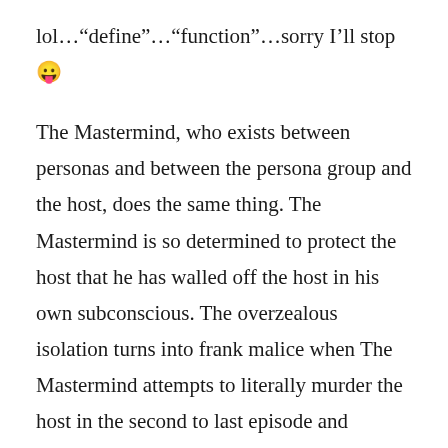lol…"define"…"function"…sorry I'll stop 😛
The Mastermind, who exists between personas and between the persona group and the host, does the same thing. The Mastermind is so determined to protect the host that he has walled off the host in his own subconscious. The overzealous isolation turns into frank malice when The Mastermind attempts to literally murder the host in the second to last episode and assume Elliot's identity permanently.
So The Mastermind and Mr. Robot echo each other's behavior patterns. The layers of Elliot's hacker collaboration can be thought of as concentric circles. To bring Elliot into fsociety is to bring in Mr. Robot. Mr. Robot is the outermost circle. Mr. Robot networks with